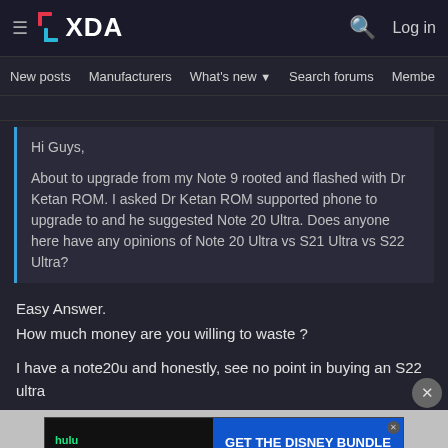XDA — Log in
New posts  Manufacturers  What's new  Search forums  Members  >
Hi Guys,

About to upgrade from my Note 9 rooted and flashed with Dr Ketan ROM. I asked Dr Ketan ROM supported phone to upgrade to and he suggested Note 20 Ultra. Does anyone here have any opinions of Note 20 Ultra vs S21 Ultra vs S22 Ultra?
Easy Answer.
How much money are you willing to waste ?

I have a note20u and honestly, see no point in buying an S22 ultra
[Figure (screenshot): Hulu Disney+ ESPN+ GET THE DISNEY BUNDLE advertisement banner. Incl. Hulu (ad-supported) or Hulu (No Ads). Access content from each service separately. ©2021 Disney and its related entities]
Senior Member